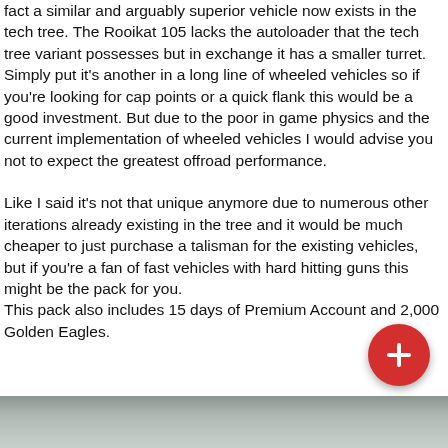fact a similar and arguably superior vehicle now exists in the tech tree. The Rooikat 105 lacks the autoloader that the tech tree variant possesses but in exchange it has a smaller turret. Simply put it's another in a long line of wheeled vehicles so if you're looking for cap points or a quick flank this would be a good investment. But due to the poor in game physics and the current implementation of wheeled vehicles I would advise you not to expect the greatest offroad performance.

Like I said it's not that unique anymore due to numerous other iterations already existing in the tree and it would be much cheaper to just purchase a talisman for the existing vehicles, but if you're a fan of fast vehicles with hard hitting guns this might be the pack for you.
This pack also includes 15 days of Premium Account and 2,000 Golden Eagles.
[Figure (photo): A partial image strip at the bottom of the page showing what appears to be a vehicle or outdoor scene, mostly grey/muted tones.]